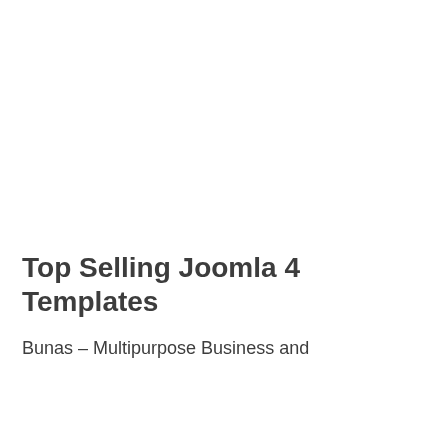[Figure (other): Large white/blank image area taking up the top two-thirds of the page]
Top Selling Joomla 4 Templates
Bunas – Multipurpose Business and